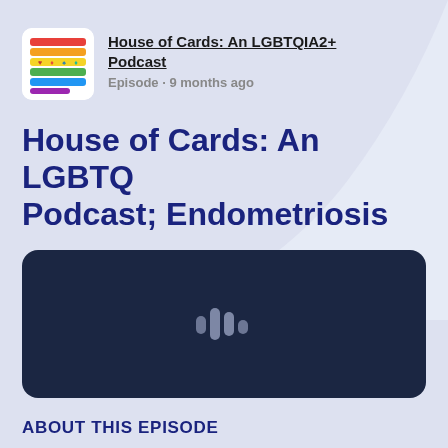[Figure (logo): House of Cards LGBTQIA2+ Podcast logo with rainbow horizontal stripes and card suit symbols]
House of Cards: An LGBTQIA2+ Podcast
Episode · 9 months ago
House of Cards: An LGBTQ Podcast; Endometriosis
[Figure (other): Dark navy blue audio player box with a podcast/audio waveform icon in the center]
ABOUT THIS EPISODE